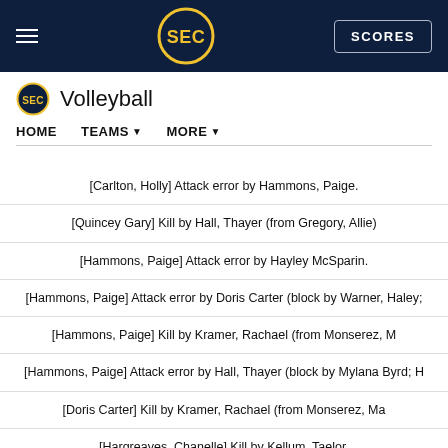SEC Volleyball — HOME | TEAMS | MORE | SCORES
Volleyball
| Play |
| --- |
| [Carlton, Holly] Attack error by Hammons, Paige. |
| [Quincey Gary] Kill by Hall, Thayer (from Gregory, Allie) |
| [Hammons, Paige] Attack error by Hayley McSparin. |
| [Hammons, Paige] Attack error by Doris Carter (block by Warner, Haley; |
| [Hammons, Paige] Kill by Kramer, Rachael (from Monserez, M |
| [Hammons, Paige] Attack error by Hall, Thayer (block by Mylana Byrd; H |
| [Doris Carter] Kill by Kramer, Rachael (from Monserez, Ma |
| [Hargreaves, Chanelle] Kill by Kellum, Taelor. |
| [Hargreaves, Chanelle] Attack error by Kellum, Taelor. |